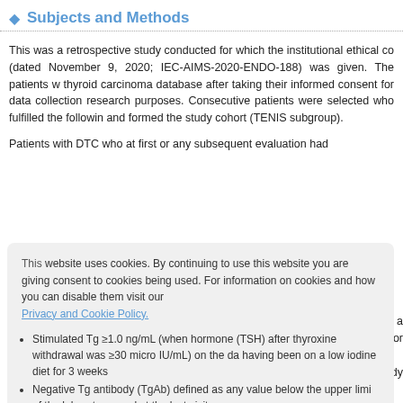Subjects and Methods
This was a retrospective study conducted for which the institutional ethical co (dated November 9, 2020; IEC-AIMS-2020-ENDO-188) was given. The patients w thyroid carcinoma database after taking their informed consent for data collection research purposes. Consecutive patients were selected who fulfilled the followin and formed the study cohort (TENIS subgroup).
Patients with DTC who at first or any subsequent evaluation had
This website uses cookies. By continuing to use this website you are giving consent to cookies being used. For information on cookies and how you can disable them visit our Privacy and Cookie Policy.
Stimulated Tg ≥1.0 ng/mL (when hormone (TSH) after thyroxine withdrawal was ≥30 micro IU/mL) on the day having been on a low iodine diet for 3 weeks
Negative Tg antibody (TgAb) defined as any value below the upper limi of the laboratory used at visit
Negative neck US.
Excluded were patients <18 years of age, those who had not received RAI a thyroidectomy, other thyroid cancers, and those with insufficient data for analysis. those who had at least three stimulated Tg on follow-up formed the study cohort.